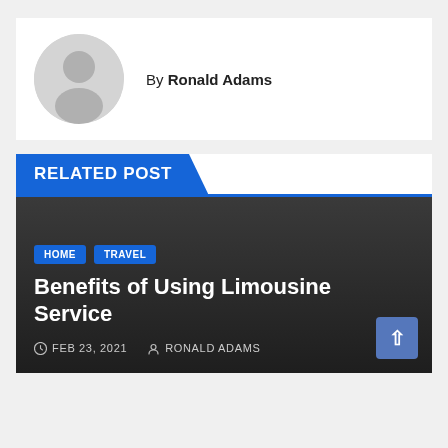By Ronald Adams
[Figure (illustration): Gray circular avatar icon with silhouette of a person]
RELATED POST
[Figure (photo): Dark banner image for a related post card]
HOME  TRAVEL
Benefits of Using Limousine Service
FEB 23, 2021  RONALD ADAMS